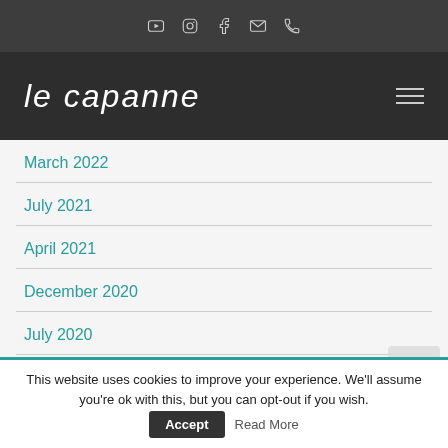Social icons bar: YouTube, Instagram, Facebook, Email, Phone
le capanne
March 2022
July 2021
April 2021
December 2020
July 2020
March 2020
This website uses cookies to improve your experience. We'll assume you're ok with this, but you can opt-out if you wish.
Accept | Read More